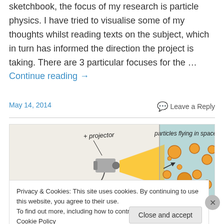sketchbook, the focus of my research is particle physics. I have tried to visualise some of my thoughts whilst reading texts on the subject, which in turn has informed the direction the project is taking. There are 3 particular focuses for the … Continue reading →
May 14, 2014
Leave a Reply
[Figure (illustration): Sketch illustration showing a projector on the left shooting a beam, and particles flying in space on the right, with handwritten labels 'projector' and 'particles flying in space']
Privacy & Cookies: This site uses cookies. By continuing to use this website, you agree to their use.
To find out more, including how to control cookies, see here: Cookie Policy
Close and accept